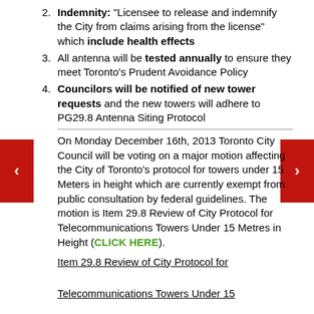Indemnity: "Licensee to release and indemnify the City from claims arising from the license" which include health effects
All antenna will be tested annually to ensure they meet Toronto's Prudent Avoidance Policy
Councilors will be notified of new tower requests and the new towers will adhere to PG29.8 Antenna Siting Protocol
On Monday December 16th, 2013 Toronto City Council will be voting on a major motion affecting the City of Toronto's protocol for towers under 15 Meters in height which are currently exempt from public consultation by federal guidelines. The motion is Item 29.8 Review of City Protocol for Telecommunications Towers Under 15 Metres in Height (CLICK HERE).
Item 29.8 Review of City Protocol for Telecommunications Towers Under 15 Metres in Height